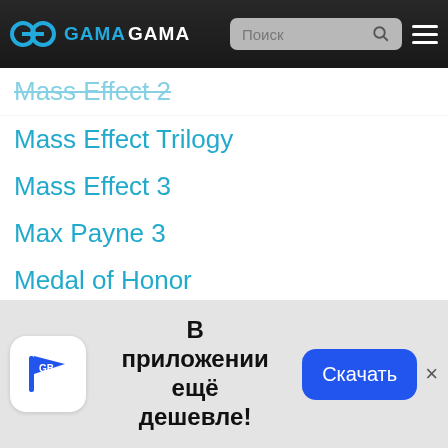GAMAGAMA — Поиск
Mass Effect 2
Mass Effect Trilogy
Mass Effect 3
Max Payne 3
Medal of Honor
Medal of Honor: Warfigher
[Figure (screenshot): App install banner with GB logo, Russian text 'В приложении ещё дешевле!' and a blue button 'Скачать']